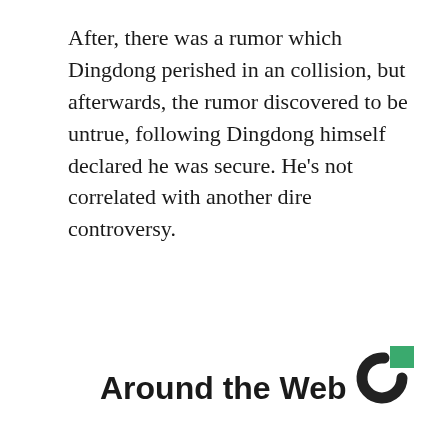After, there was a rumor which Dingdong perished in an collision, but afterwards, the rumor discovered to be untrue, following Dingdong himself declared he was secure. He's not correlated with another dire controversy.
Around the Web
[Figure (logo): Circular logo with a dark donut/C shape and a green square accent in the upper right, on white background]